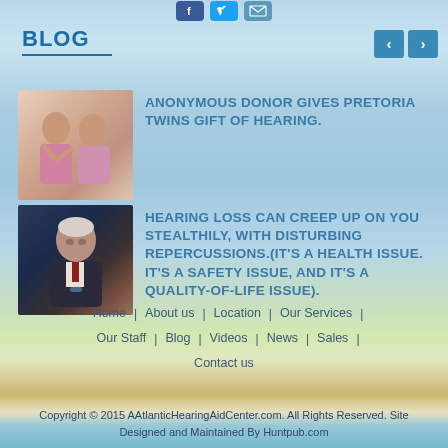[Figure (other): Social media icons: Facebook, Twitter, Email at the top of the page]
BLOG
[Figure (other): Navigation arrows (left and right) for blog carousel]
[Figure (photo): Photo of two young people (twins), blog thumbnail]
ANONYMOUS DONOR GIVES PRETORIA TWINS GIFT OF HEARING.
[Figure (photo): Photo of an elderly man, blog thumbnail]
HEARING LOSS CAN CREEP UP ON YOU STEALTHILY, WITH DISTURBING REPERCUSSIONS.(IT'S A HEALTH ISSUE. IT'S A SAFETY ISSUE, AND IT'S A QUALITY-OF-LIFE ISSUE).
Home | About us | Location | Our Services | Our Staff | Blog | Videos | News | Sales | Contact us
Copyright © 2015 AAtlanticHearingAidCenter.com. All Rights Reserved. Site Designed and Maintained By Huntpub.com